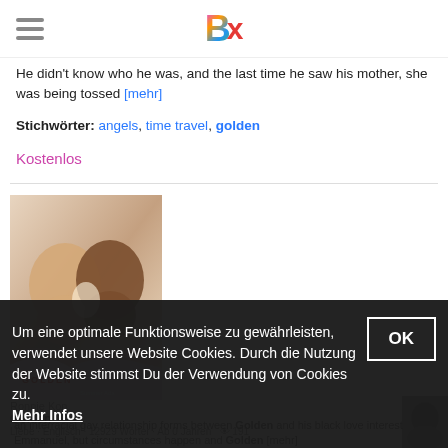Bx (logo)
He didn't know who he was, and the last time he saw his mother, she was being tossed [mehr]
Stichwörter: angels, time travel, golden
Kostenlos
[Figure (photo): Book cover for 'Golden' showing two men facing each other closely, with title text 'GOLDEN' in red at bottom]
Ronnie Kon
Golden
Liebe · Englisch · 12929 Wörter · Ab 0 Jahren · 191
Um eine optimale Funktionsweise zu gewährleisten, verwendet unsere Website Cookies. Durch die Nutzung der Website stimmst Du der Verwendung von Cookies zu. Mehr Infos
an interracial gay relationship forms between Golden and his black love interest Emmanuel, but circumstances happen and Golden [mehr]